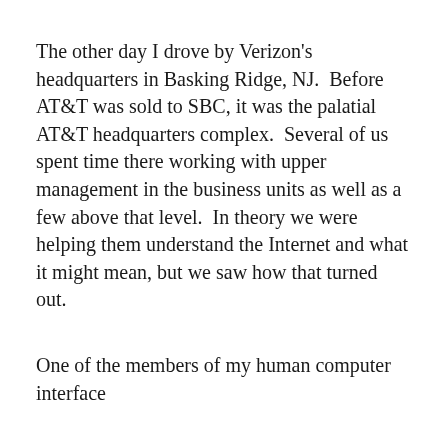The other day I drove by Verizon's headquarters in Basking Ridge, NJ.  Before AT&T was sold to SBC, it was the palatial AT&T headquarters complex.  Several of us spent time there working with upper management in the business units as well as a few above that level.  In theory we were helping them understand the Internet and what it might mean, but we saw how that turned out.
One of the members of my human computer interface department...